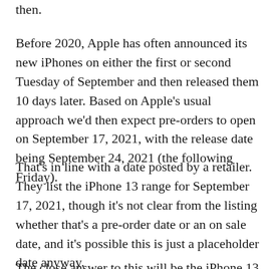then.
Before 2020, Apple has often announced its new iPhones on either the first or second Tuesday of September and then released them 10 days later. Based on Apple's usual approach we'd then expect pre-orders to open on September 17, 2021, with the release date being September 24, 2021 (the following Friday).
That's in line with a date posted by a retailer. They list the iPhone 13 range for September 17, 2021, though it's not clear from the listing whether that's a pre-order date or an on sale date, and it's possible this is just a placeholder date anyway.
The close answer to this will be the iPhone 13 release date...